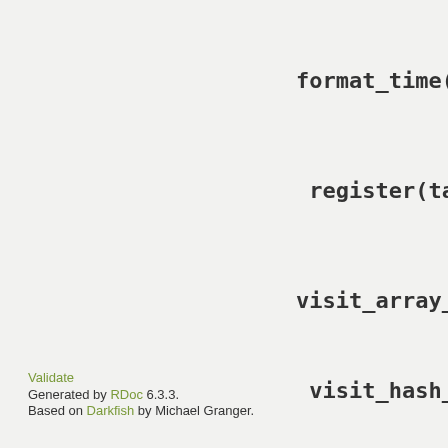format_time(time
register(target
visit_array_subc
visit_hash_subc
Validate
Generated by RDoc 6.3.3.
Based on Darkfish by Michael Granger.